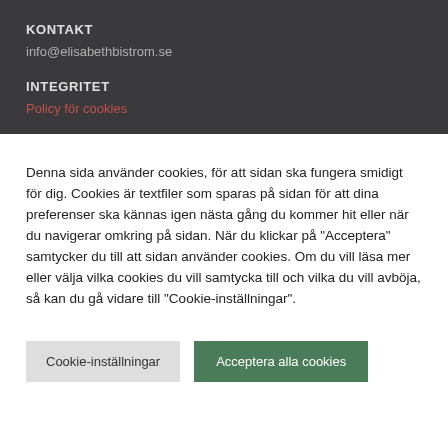KONTAKT
info@elisabethbistrom.se
INTEGRITET
Policy för cookies
Denna sida använder cookies, för att sidan ska fungera smidigt för dig. Cookies är textfiler som sparas på sidan för att dina preferenser ska kännas igen nästa gång du kommer hit eller när du navigerar omkring på sidan. När du klickar på "Acceptera" samtycker du till att sidan använder cookies. Om du vill läsa mer eller välja vilka cookies du vill samtycka till och vilka du vill avböja, så kan du gå vidare till "Cookie-inställningar".
Cookie-inställningar
Acceptera alla cookies